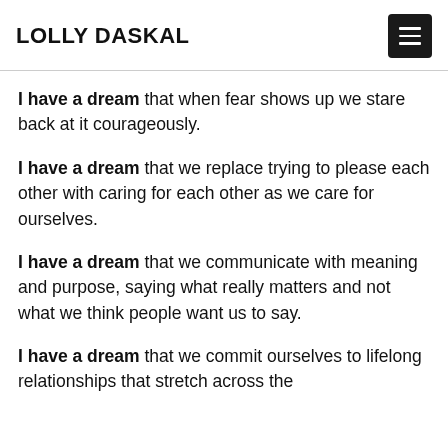LOLLY DASKAL
I have a dream that when fear shows up we stare back at it courageously.
I have a dream that we replace trying to please each other with caring for each other as we care for ourselves.
I have a dream that we communicate with meaning and purpose, saying what really matters and not what we think people want us to say.
I have a dream that we commit ourselves to lifelong relationships that stretch across the